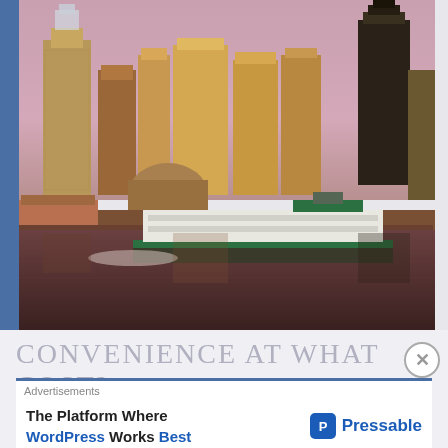[Figure (photo): Seattle city skyline viewed from the water, showing downtown skyscrapers including the Columbia Center (black tower), with a Washington State Ferry (white and green) in the foreground on Elliott Bay. The sky is a warm pinkish-purple hue, and the waterfront piers are visible.]
Convenience at What Cost?
Advertisements
The Platform Where WordPress Works Best
[Figure (logo): Pressable logo with blue square icon and bold blue text]